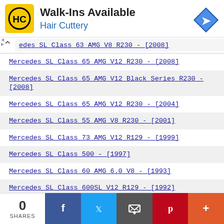[Figure (logo): Hair Cuttery ad banner with HC logo, 'Walk-Ins Available' heading and blue 'Hair Cuttery' text, with navigation arrow icon]
edes SL Class 63 AMG V8 R230 - [2008]
Mercedes SL Class 65 AMG V12 R230 - [2008]
Mercedes SL Class 65 AMG V12 Black Series R230 - [2008]
Mercedes SL Class 65 AMG V12 R230 - [2004]
Mercedes SL Class 55 AMG V8 R230 - [2001]
Mercedes SL Class 73 AMG V12 R129 - [1999]
Mercedes SL Class 500 - [1997]
Mercedes SL Class 60 AMG 6.0 V8 - [1993]
Mercedes SL Class 600SL V12 R129 - [1992]
Mercedes SL Class 500SL R129 - [1989]
Mercedes SL Class 560SL V8 R107 - [1986]
Mercedes SL Class 500SL V8 R107 - [1985]
0 SHARES  [Facebook] [Twitter] [Email] [Pinterest] [More]